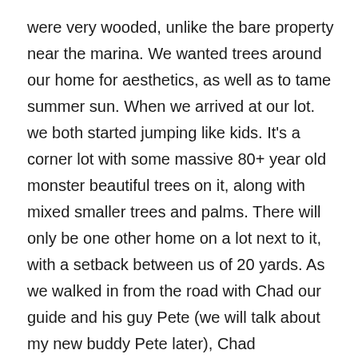were very wooded, unlike the bare property near the marina. We wanted trees around our home for aesthetics, as well as to tame summer sun. When we arrived at our lot. we both started jumping like kids. It's a corner lot with some massive 80+ year old monster beautiful trees on it, along with mixed smaller trees and palms. There will only be one other home on a lot next to it, with a setback between us of 20 yards. As we walked in from the road with Chad our guide and his guy Pete (we will talk about my new buddy Pete later), Chad proceeded with his machete to clear a path along the lot line. When we got to the back of the property, we were ecstatic. You see, there will be a narrow belt of trees that will be thinned so that from our house we will have views of the Caribbean Ocean from our decks, and no homes ! We will be able to have an access path directly to the ocean from our house.